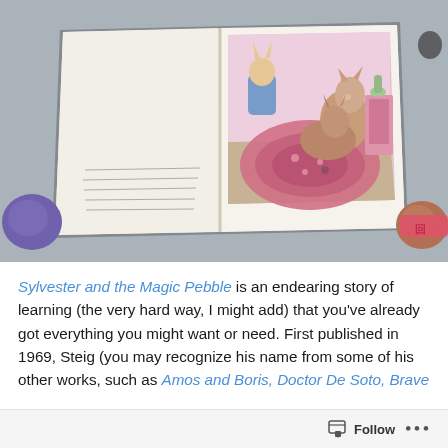[Figure (photo): A photograph of an open children's book (Sylvester and the Magic Pebble) lying on a gray surface, showing a colorful illustration of animal characters around a decorative table/rug. Decorative stones and a red fabric item surround the book.]
Sylvester and the Magic Pebble is an endearing story of learning (the very hard way, I might add) that you've already got everything you might want or need. First published in 1969, Steig (you may recognize his name from some of his other works, such as Amos and Boris, Doctor De Soto, Brave
Follow ...